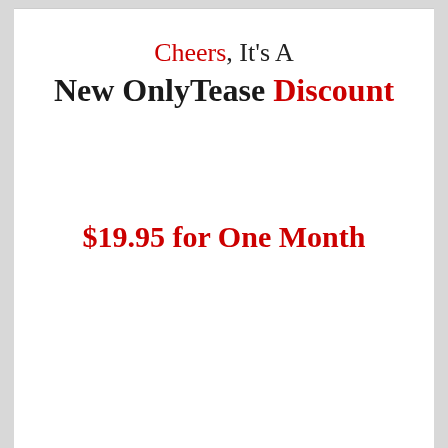Cheers, It's A New OnlyTease Discount
$19.95 for One Month
Now That is Up to 55%